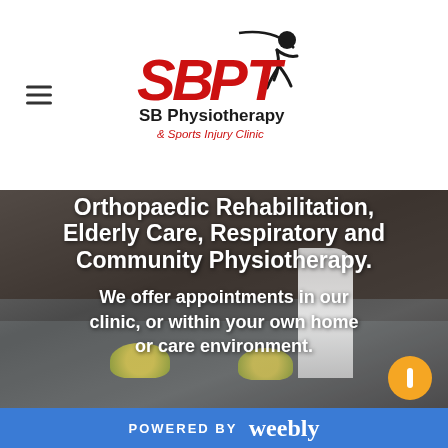[Figure (logo): SBPT SB Physiotherapy & Sports Injury Clinic logo with red and black lettering and a running figure icon]
[Figure (photo): Outdoor photo of a building with dark roof tiles and white windows, with a promotional banner flag and flower arrangements visible. White bold text overlaid reading about Orthopaedic Rehabilitation, Elderly Care, Respiratory and Community Physiotherapy, and appointments in clinic or home/care environment.]
Orthopaedic Rehabilitation, Elderly Care, Respiratory and Community Physiotherapy.
We offer appointments in our clinic, or within your own home or care environment.
POWERED BY weebly